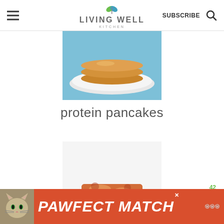Living Well Kitchen — SUBSCRIBE
[Figure (photo): Stack of golden protein pancakes on a white plate against a blue background]
protein pancakes
[Figure (photo): Cheesy lasagna with tomato sauce and zucchini on a white plate]
[Figure (infographic): Advertisement banner: PAWFECT MATCH with a cat photo on orange/red background]